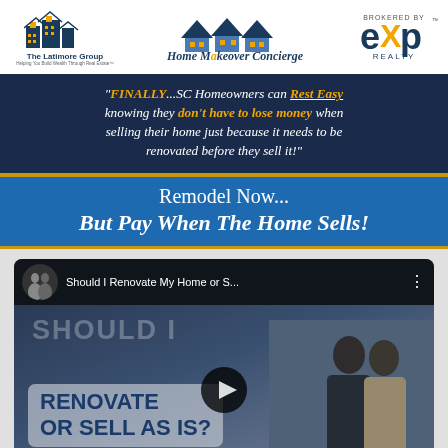[Figure (logo): Header with three logos: The Latimore Group (left), Home Makeover Concierge (center), eXp Realty brokered by (right)]
"FINALLY...SC Homeowners can Rest Easy knowing they don't have to lose money when selling their home just because it needs to be renovated before they sell it!"
Remodel Now... But Pay When The Home Sells!
[Figure (screenshot): YouTube video thumbnail: 'Should I Renovate My Home or S...' with two people shown and bold text reading 'RENOVATE OR SELL AS IS?' over a dark background with a play button]